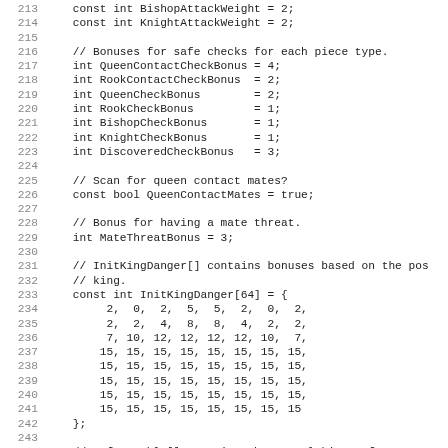[Figure (screenshot): Source code listing showing C++ variable declarations for chess engine king safety evaluation, lines 213-245, with line numbers on left and monospace code on right. Includes attack weights, check bonuses, queen contact mates flag, mate threat bonus, InitKingDanger array, and start of SafetyTable comment.]